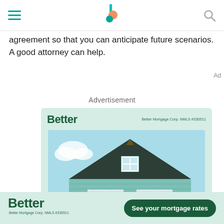Navigation bar with hamburger menu, Better logo, and search icon
agreement so that you can anticipate future scenarios. A good attorney can help.
Advertisement
[Figure (illustration): Better Mortgage advertisement showing a teal/mint colored house with a triangular roof against a blue sky, with Better logo and NMLS #330511 text at top]
[Figure (illustration): Sticky bottom banner ad for Better Mortgage with 'See your mortgage rates' call-to-action button]